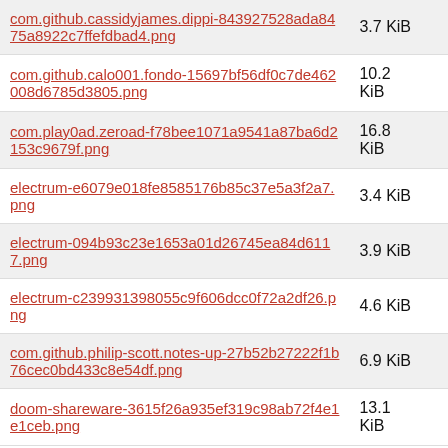| Filename | Size |
| --- | --- |
| com.github.cassidyjames.dippi-843927528ada8475a8922c7ffefdbad4.png | 3.7 KiB |
| com.github.calo001.fondo-15697bf56df0c7de462008d6785d3805.png | 10.2 KiB |
| com.play0ad.zeroad-f78bee1071a9541a87ba6d2153c9679f.png | 16.8 KiB |
| electrum-e6079e018fe8585176b85c37e5a3f2a7.png | 3.4 KiB |
| electrum-094b93c23e1653a01d26745ea84d6117.png | 3.9 KiB |
| electrum-c239931398055c9f606dcc0f72a2df26.png | 4.6 KiB |
| com.github.philip-scott.notes-up-27b52b27222f1b76cec0bd433c8e54df.png | 6.9 KiB |
| doom-shareware-3615f26a935ef319c98ab72f4e1e1ceb.png | 13.1 KiB |